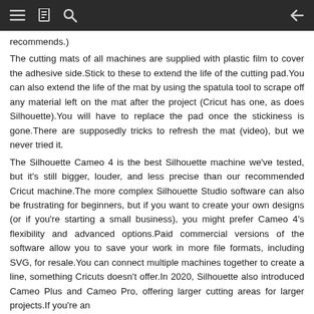Navigation bar with menu, bookmark, search, and back icons
recommends.)
The cutting mats of all machines are supplied with plastic film to cover the adhesive side.Stick to these to extend the life of the cutting pad.You can also extend the life of the mat by using the spatula tool to scrape off any material left on the mat after the project (Cricut has one, as does Silhouette).You will have to replace the pad once the stickiness is gone.There are supposedly tricks to refresh the mat (video), but we never tried it.
The Silhouette Cameo 4 is the best Silhouette machine we've tested, but it's still bigger, louder, and less precise than our recommended Cricut machine.The more complex Silhouette Studio software can also be frustrating for beginners, but if you want to create your own designs (or if you're starting a small business), you might prefer Cameo 4's flexibility and advanced options.Paid commercial versions of the software allow you to save your work in more file formats, including SVG, for resale.You can connect multiple machines together to create a line, something Cricuts doesn't offer.In 2020, Silhouette also introduced Cameo Plus and Cameo Pro, offering larger cutting areas for larger projects.If you're an